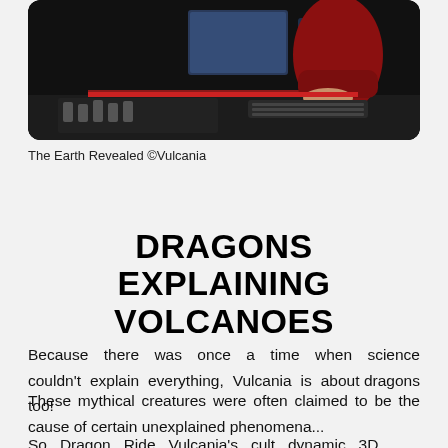[Figure (photo): Person in a red shirt working at a studio desk with computer monitors and mixing equipment, dark background.]
The Earth Revealed ©Vulcania
DRAGONS EXPLAINING VOLCANOES
Because there was once a time when science couldn't explain everything, Vulcania is about dragons too!
These mythical creatures were often claimed to be the cause of certain unexplained phenomena...
So Dragon Ride Vulcania's cult dynamic 3D